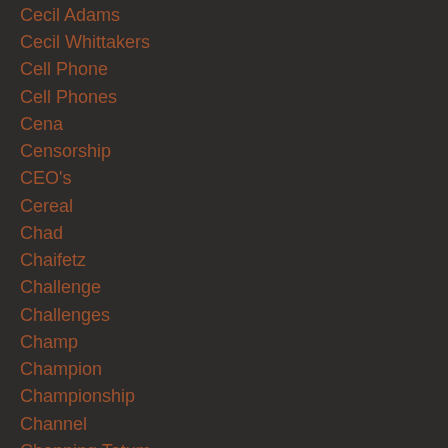Cecil Adams
Cecil Whittakers
Cell Phone
Cell Phones
Cena
Censorship
CEO's
Cereal
Chad
Chaifetz
Challenge
Challenges
Champ
Champion
Championship
Channel
Channing Tatum
Chaos
Charitable
Charity
Charles